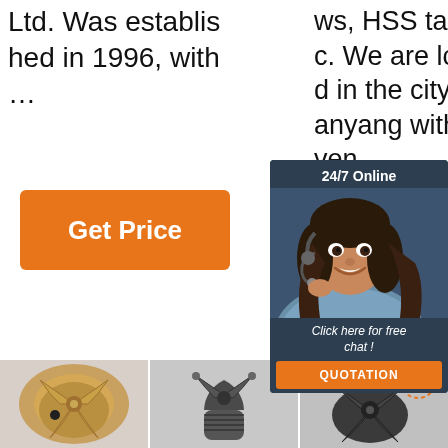Ltd. Was established in 1996, with …
[Figure (other): Orange 'Get Price' button]
ws, HSS taps etc. We are located in the city of Danyang with convenient transportation, you are welcome to express
[Figure (other): 24/7 Online chat overlay with customer service agent, 'Click here for free chat!' text, and orange QUOTATION button]
[Figure (photo): Gold/bronze colored drill bit for mining or drilling]
[Figure (photo): Dark gray drill bit tool, smaller, with threaded shank]
[Figure (photo): Dark gray multi-blade drill bit with TOP badge overlay]